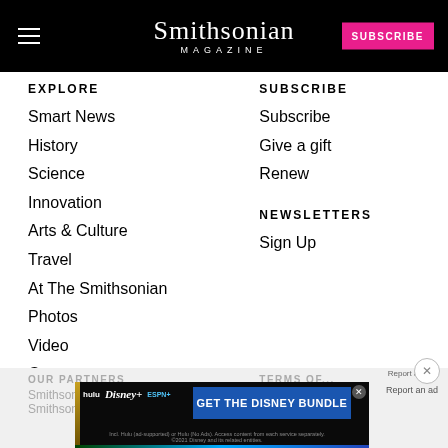Smithsonian MAGAZINE
EXPLORE
Smart News
History
Science
Innovation
Arts & Culture
Travel
At The Smithsonian
Photos
Video
Games
SUBSCRIBE
Subscribe
Give a gift
Renew
NEWSLETTERS
Sign Up
OUR PARTNERS
Smithsonian Institution
Smithsonian.com
TERMS OF ...
Contact Us
[Figure (screenshot): GET THE DISNEY BUNDLE advertisement banner with Hulu, Disney+, ESPN+ logos]